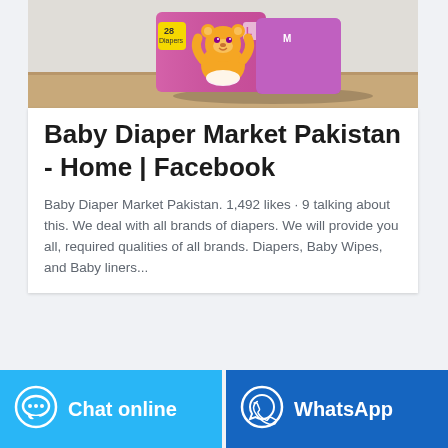[Figure (photo): Product photo of a pink baby diaper package (size L, 28 count) with a cartoon bear character, displayed on a wooden surface with a light background.]
Baby Diaper Market Pakistan - Home | Facebook
Baby Diaper Market Pakistan. 1,492 likes · 9 talking about this. We deal with all brands of diapers. We will provide you all, required qualities of all brands. Diapers, Baby Wipes, and Baby liners...
Chat online
WhatsApp